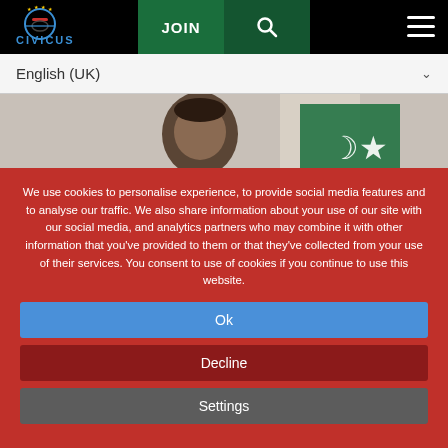CIVICUS | JOIN | Search | Menu
English (UK)
[Figure (photo): Photo of a man (Imran Khan) seated, with a Pakistani flag visible in the background, partially obscured by cookie consent overlay]
We use cookies to personalise experience, to provide social media features and to analyse our traffic. We also share information about your use of our site with our social media, and analytics partners who may combine it with other information that you've provided to them or that they've collected from your use of their services. You consent to use of cookies if you continue to use this website.
Ok
Decline
Settings